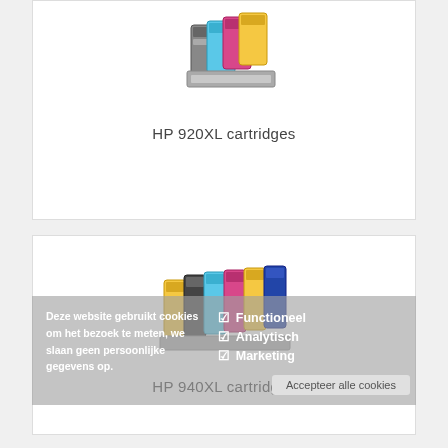[Figure (photo): HP 920XL ink cartridges — multiple colorful cartridges (black, cyan, magenta, yellow) stacked together]
HP 920XL cartridges
[Figure (photo): HP 940XL ink cartridges — multiple cartridges (black, cyan, magenta, yellow) arranged side by side]
HP 940XL cartridges
[Figure (photo): HP 950XL / 951XL ink cartridges — multiple cartridges (black, cyan, magenta, yellow) arranged side by side]
HP 950XL / 951XL cartridges
Deze website gebruikt cookies om het bezoek te meten, we slaan geen persoonlijke gegevens op.
Functioneel
Analytisch
Marketing